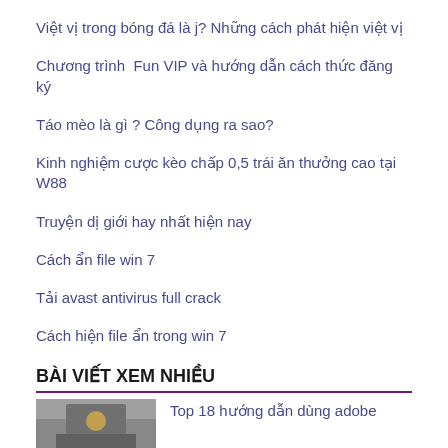Việt vị trong bóng đá là j? Những cách phát hiện việt vị
Chương trình  Fun VIP và hướng dẫn cách thức đăng ký
Táo mèo là gì ? Công dụng ra sao?
Kinh nghiệm cược kèo chấp 0,5 trái ăn thưởng cao tại W88
Truyện dị giới hay nhất hiện nay
Cách ẩn file win 7
Tải avast antivirus full crack
Cách hiện file ẩn trong win 7
BÀI VIẾT XEM NHIỀU
[Figure (photo): Thumbnail image placeholder]
Top 18 hướng dẫn dùng adobe